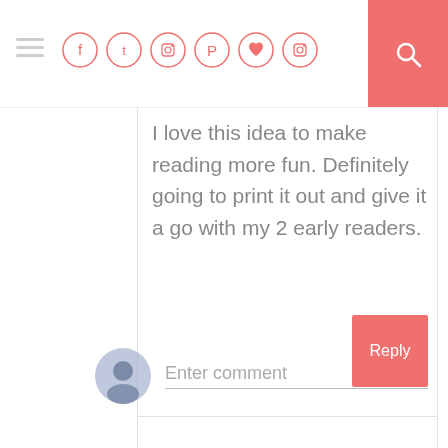Navigation header with hamburger menu, social icons (Facebook, Twitter, Instagram, Pinterest, Heart, Instagram), and search button
I love this idea to make reading more fun. Definitely going to print it out and give it a go with my 2 early readers.
Reply
Enter comment